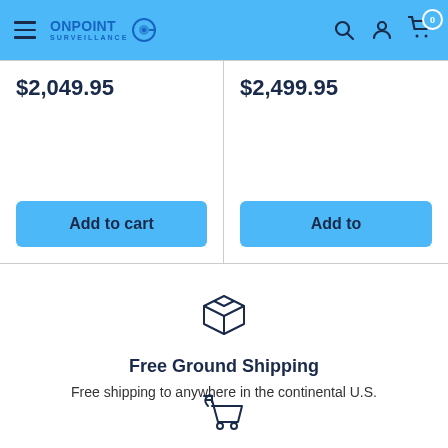[Figure (screenshot): OnPoint Surveillance navigation bar with hamburger menu, logo, search, account, and cart icons on blue background]
$2,049.95
$2,499.95
Add to cart
Add to
[Figure (illustration): Box/package icon representing free ground shipping]
Free Ground Shipping
Free shipping to anywhere in the continental U.S.
[Figure (illustration): Return cart icon representing easy return policy]